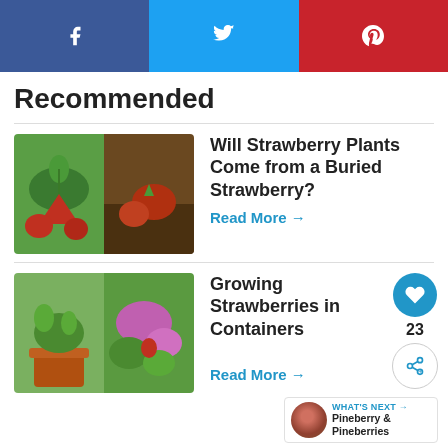[Figure (infographic): Social share bar with Facebook (blue), Twitter (light blue), and Pinterest (red) buttons]
Recommended
[Figure (photo): Two thumbnail images of strawberry plants and strawberries in soil]
Will Strawberry Plants Come from a Buried Strawberry?
Read More →
[Figure (photo): Two thumbnail images of strawberry plants in containers and flower pots]
Growing Strawberries in Containers
Read More →
[Figure (infographic): Floating action buttons: heart icon (blue circle) with count 23, and share icon (white circle). What's Next bar with pineberry thumbnail.]
[Figure (photo): Partial thumbnail images for third article about Strawberry Plants]